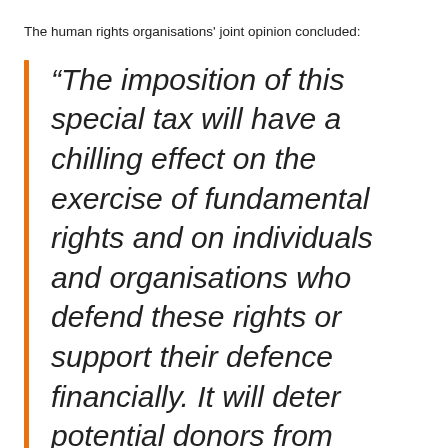The human rights organisations' joint opinion concluded:
“The imposition of this special tax will have a chilling effect on the exercise of fundamental rights and on individuals and organisations who defend these rights or support their defence financially. It will deter potential donors from